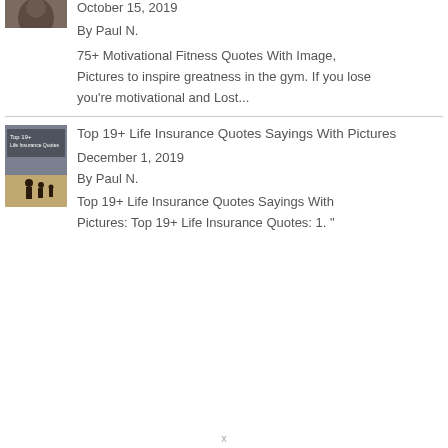[Figure (photo): Partial thumbnail image of a person, cropped at top of page]
October 15, 2019
By Paul N.
75+ Motivational Fitness Quotes With Image, Pictures to inspire greatness in the gym. If you lose you're motivational and Lost...
[Figure (photo): Thumbnail image with text 'Top 19+ Life Insurance Quotes' showing a family silhouette on a beach]
Top 19+ Life Insurance Quotes Sayings With Pictures
December 1, 2019
By Paul N.
Top 19+ Life Insurance Quotes Sayings With Pictures: Top 19+ Life Insurance Quotes: 1. "